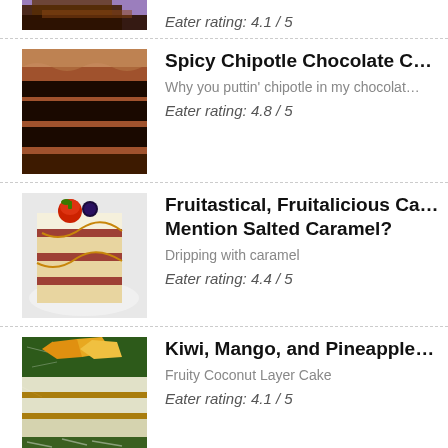[Figure (photo): Partial image of a chocolate cake slice at top of page, cropped]
Eater rating: 4.1 / 5
[Figure (photo): Chocolate layer cake slice with chocolate frosting]
Spicy Chipotle Chocolate C…
Why you puttin' chipotle in my chocolat…
Eater rating: 4.8 / 5
[Figure (photo): Layered cake slice with strawberry on top and caramel drizzle]
Fruitastical, Fruitalicious Ca… Mention Salted Caramel?
Dripping with caramel
Eater rating: 4.4 / 5
[Figure (photo): Kiwi, mango, and pineapple coconut layer cake slice]
Kiwi, Mango, and Pineapple…
Fruity Coconut Layer Cake
Eater rating: 4.1 / 5